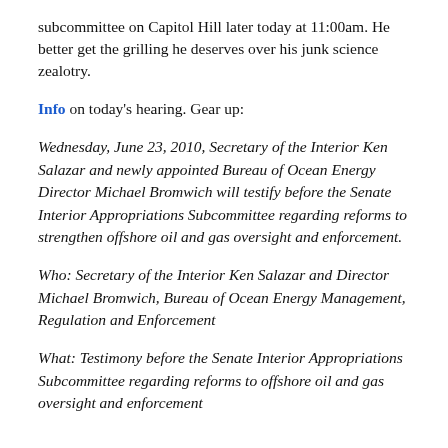subcommittee on Capitol Hill later today at 11:00am. He better get the grilling he deserves over his junk science zealotry.
Info on today's hearing. Gear up:
Wednesday, June 23, 2010, Secretary of the Interior Ken Salazar and newly appointed Bureau of Ocean Energy Director Michael Bromwich will testify before the Senate Interior Appropriations Subcommittee regarding reforms to strengthen offshore oil and gas oversight and enforcement.
Who: Secretary of the Interior Ken Salazar and Director Michael Bromwich, Bureau of Ocean Energy Management, Regulation and Enforcement
What: Testimony before the Senate Interior Appropriations Subcommittee regarding reforms to offshore oil and gas oversight and enforcement